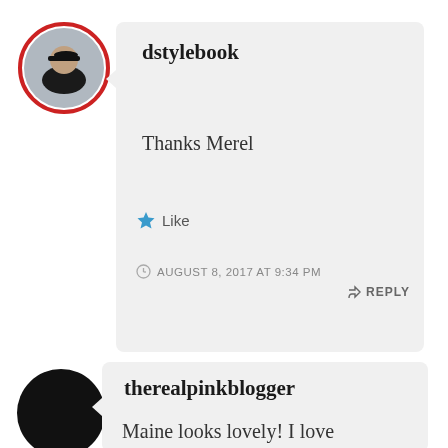[Figure (photo): Circular avatar photo of a person with sunglasses, wearing black, with a red circle border]
dstylebook
Thanks Merel
★ Like
AUGUST 8, 2017 AT 9:34 PM
↳ REPLY
[Figure (photo): Circular dark/black avatar silhouette]
therealpinkblogger
Maine looks lovely! I love